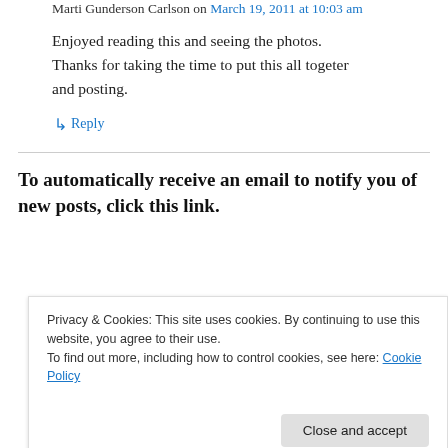Marti Gunderson Carlson on March 19, 2011 at 10:03 am
Enjoyed reading this and seeing the photos. Thanks for taking the time to put this all togeter and posting.
↳ Reply
To automatically receive an email to notify you of new posts, click this link.
Privacy & Cookies: This site uses cookies. By continuing to use this website, you agree to their use.
To find out more, including how to control cookies, see here: Cookie Policy
Close and accept